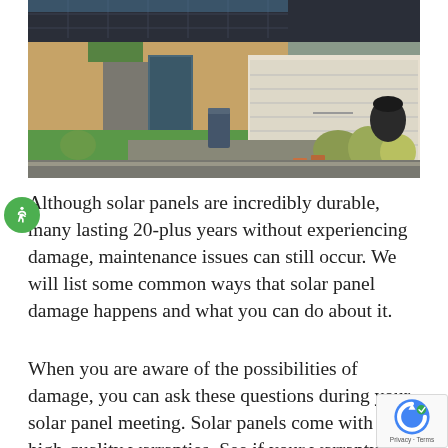[Figure (photo): Photograph of a suburban house with solar panels on the dark roof, a wide white roller-door garage, brick exterior, garden with green lawn, plants and a blue wheelie bin in the driveway.]
Although solar panels are incredibly durable, many lasting 20-plus years without experiencing damage, maintenance issues can still occur. We will list some common ways that solar panel damage happens and what you can do about it.
When you are aware of the possibilities of damage, you can ask these questions during your solar panel meeting. Solar panels come with high-quality warranties. See if your warranty will cover common